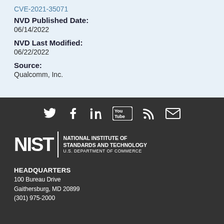CVE-2021-35071
NVD Published Date:
06/14/2022
NVD Last Modified:
06/22/2022
Source:
Qualcomm, Inc.
[Figure (infographic): Social media icons: Twitter, Facebook, LinkedIn, YouTube, RSS, Email]
[Figure (logo): NIST - National Institute of Standards and Technology, U.S. Department of Commerce logo]
HEADQUARTERS
100 Bureau Drive
Gaithersburg, MD 20899
(301) 975-2000